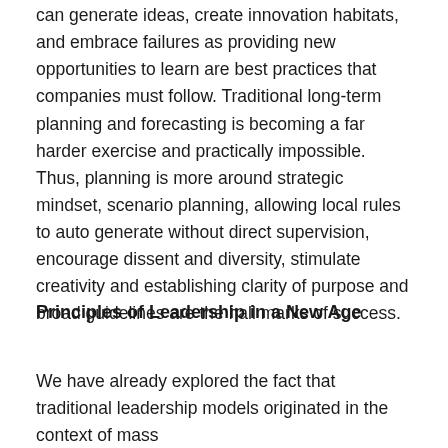can generate ideas, create innovation habitats, and embrace failures as providing new opportunities to learn are best practices that companies must follow. Traditional long-term planning and forecasting is becoming a far harder exercise and practically impossible. Thus, planning is more around strategic mindset, scenario planning, allowing local rules to auto generate without direct supervision, encourage dissent and diversity, stimulate creativity and establishing clarity of purpose and broad guidelines are the hall marks of success.
Principles of Leadership in a New Age
We have already explored the fact that traditional leadership models originated in the context of mass